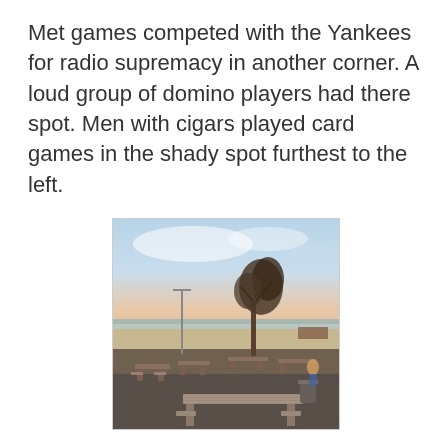Met games competed with the Yankees for radio supremacy in another corner. A loud group of domino players had there spot. Men with cigars played card games in the shady spot furthest to the left.
[Figure (photo): Outdoor photo at dusk showing a beachside park area with picnic tables in the foreground, a single bare tree in the center, a light pole to the left, a sandy beach and calm water in the background, and a pale blue-pink sky with wispy clouds.]